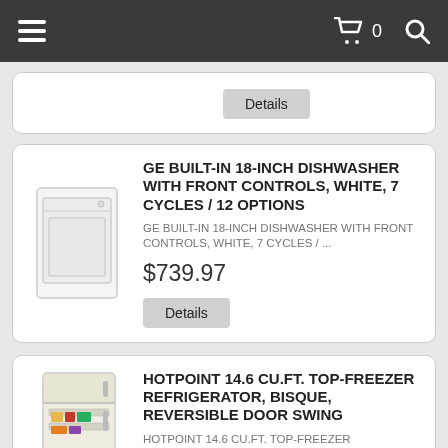Navigation bar with menu, cart (0), and search icons
[Figure (screenshot): Details button from partially visible product card above]
GE BUILT-IN 18-INCH DISHWASHER WITH FRONT CONTROLS, WHITE, 7 CYCLES / 12 OPTIONS
GE BUILT-IN 18-INCH DISHWASHER WITH FRONT CONTROLS, WHITE, 7 CYCLES / ...
$739.97
Details
HOTPOINT 14.6 CU.FT. TOP-FREEZER REFRIGERATOR, BISQUE, REVERSIBLE DOOR SWING
HOTPOINT 14.6 CU.FT. TOP-FREEZER REFRIGERATOR, BISQUE, REVERSIBLE